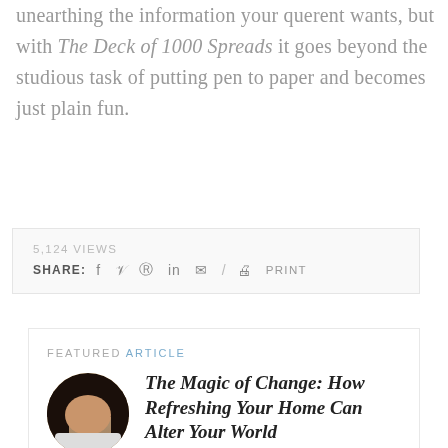unearthing the information your querent wants, but with The Deck of 1000 Spreads it goes beyond the studious task of putting pen to paper and becomes just plain fun.
5,124 VIEWS
SHARE: f  y  ®  in  ✉  /  🖨 PRINT
FEATURED ARTICLE
The Magic of Change: How Refreshing Your Home Can Alter Your World
BY LESLEY MORRISON